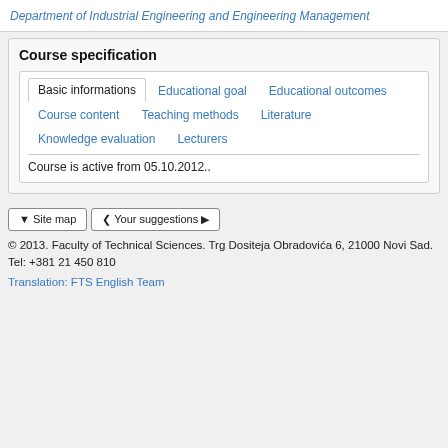Department of Industrial Engineering and Engineering Management
Course specification
Basic informations  Educational goal  Educational outcomes  Course content  Teaching methods  Literature  Knowledge evaluation  Lecturers
Course is active from 05.10.2012..
▼ Site map   ❮ Your suggestions ▶
© 2013. Faculty of Technical Sciences. Trg Dositeja Obradovića 6, 21000 Novi Sad. Tel: +381 21 450 810
Translation: FTS English Team